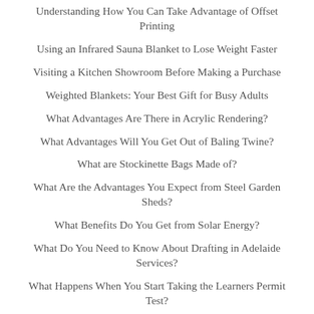Understanding How You Can Take Advantage of Offset Printing
Using an Infrared Sauna Blanket to Lose Weight Faster
Visiting a Kitchen Showroom Before Making a Purchase
Weighted Blankets: Your Best Gift for Busy Adults
What Advantages Are There in Acrylic Rendering?
What Advantages Will You Get Out of Baling Twine?
What are Stockinette Bags Made of?
What Are the Advantages You Expect from Steel Garden Sheds?
What Benefits Do You Get from Solar Energy?
What Do You Need to Know About Drafting in Adelaide Services?
What Happens When You Start Taking the Learners Permit Test?